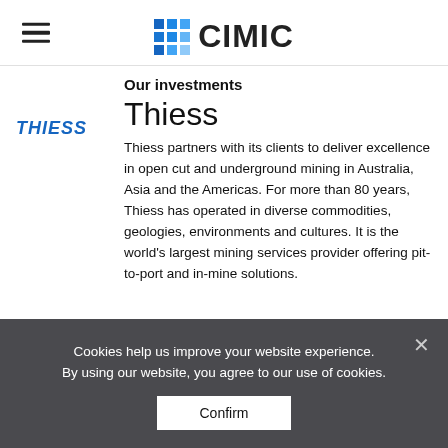CIMIC
Our investments
Thiess
[Figure (logo): THIESS logo in bold blue italic text]
Thiess partners with its clients to deliver excellence in open cut and underground mining in Australia, Asia and the Americas. For more than 80 years, Thiess has operated in diverse commodities, geologies, environments and cultures. It is the world's largest mining services provider offering pit-to-port and in-mine solutions.
Cookies help us improve your website experience. By using our website, you agree to our use of cookies.